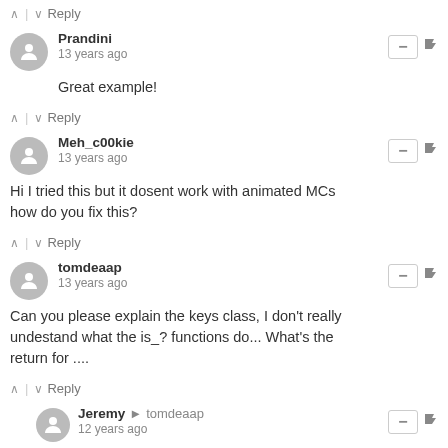^ | v Reply
Prandini
13 years ago
Great example!
^ | v Reply
Meh_c00kie
13 years ago
Hi I tried this but it dosent work with animated MCs how do you fix this?
^ | v Reply
tomdeaap
13 years ago
Can you please explain the keys class, I don't really undestand what the is_? functions do... What's the return for ....
^ | v Reply
Jeremy → tomdeaap
12 years ago